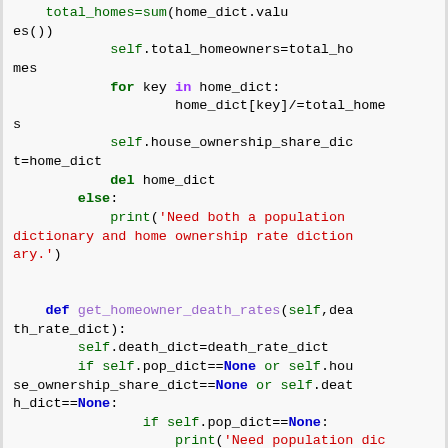[Figure (screenshot): Python code snippet showing class methods for home ownership and death rate calculations, with syntax highlighting. Code includes total_homes sum, self.total_homeowners, for loop over home_dict, self.house_ownership_share_dict, del home_dict, else branch with print statement, def get_homeowner_death_rates method, self.death_dict assignment, and if conditions checking for None values.]